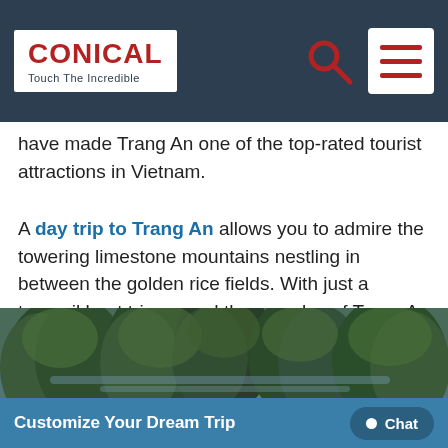CONICAL | Touch The Incredible
have made Trang An one of the top-rated tourist attractions in Vietnam.
A day trip to Trang An allows you to admire the towering limestone mountains nestling in between the golden rice fields. With just a tranquil boat trip around the complex of Trang An nature will provide an insightful knowledge of how special mother nature is. Don't hesitate to escape to this beautiful quiet gem as a getaway from the hustle of Hanoi!
[Figure (photo): Aerial view of Trang An landscape with limestone mountains covered in green foliage and waterways below]
Customize Your Dream Trip | Chat